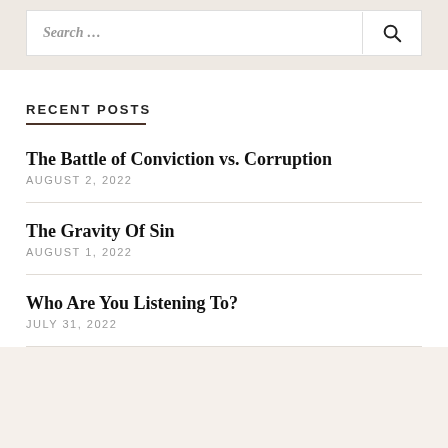Search ...
RECENT POSTS
The Battle of Conviction vs. Corruption
AUGUST 2, 2022
The Gravity Of Sin
AUGUST 1, 2022
Who Are You Listening To?
JULY 31, 2022